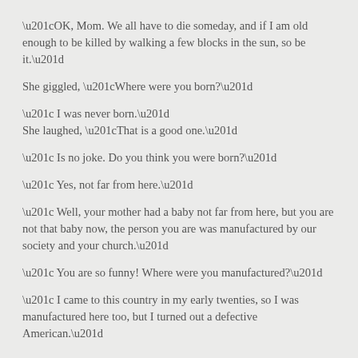“OK, Mom. We all have to die someday, and if I am old enough to be killed by walking a few blocks in the sun, so be it.”
She giggled, “Where were you born?”
“ I was never born.”
She laughed, “That is a good one.”
“ Is no joke. Do you think you were born?”
“ Yes, not far from here.”
“ Well, your mother had a baby not far from here, but you are not that baby now, the person you are was manufactured by our society and your church.”
“ You are so funny! Where were you manufactured?”
“ I came to this country in my early twenties, so I was manufactured here too, but I turned out a defective American.”